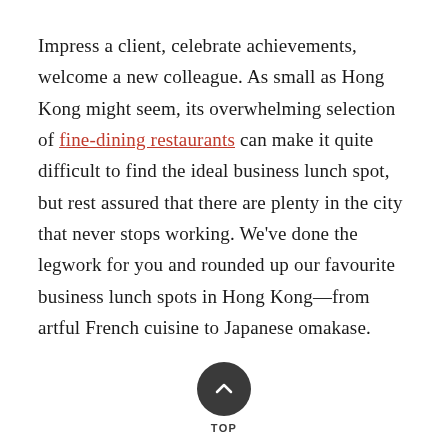Impress a client, celebrate achievements, welcome a new colleague. As small as Hong Kong might seem, its overwhelming selection of fine-dining restaurants can make it quite difficult to find the ideal business lunch spot, but rest assured that there are plenty in the city that never stops working. We've done the legwork for you and rounded up our favourite business lunch spots in Hong Kong—from artful French cuisine to Japanese omakase.
[Figure (other): A dark circular button with an upward-pointing chevron arrow, labeled 'TOP' beneath it, used as a back-to-top navigation element.]